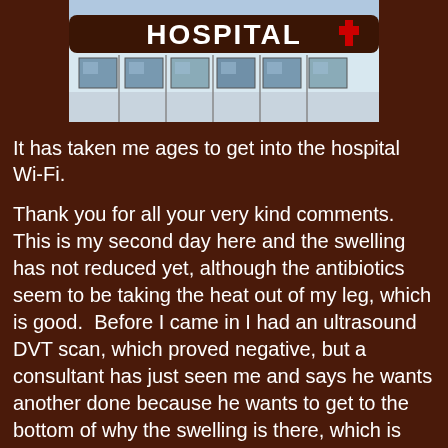[Figure (photo): Photograph of a hospital building exterior showing the word HOSPITAL on the curved facade with windows visible]
It has taken me ages to get into the hospital Wi-Fi.
Thank you for all your very kind comments.  This is my second day here and the swelling has not reduced yet, although the antibiotics seem to be taking the heat out of my leg, which is good.  Before I came in I had an ultrasound DVT scan, which proved negative, but a consultant has just seen me and says he wants another done because he wants to get to the bottom of why the swelling is there, which is causing all the problems.  He seemed quite impressed that I had suggested to my GP the problem might be a DVT and that I had reported that the arterial supply seemed ok.  Indeed this was confirmed a little later when a doctor did an in house